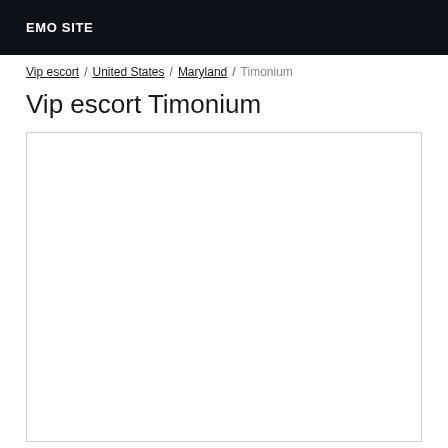EMO SITE
Vip escort / United States / Maryland / Timonium
Vip escort Timonium
[Figure (other): Empty white content box with border]